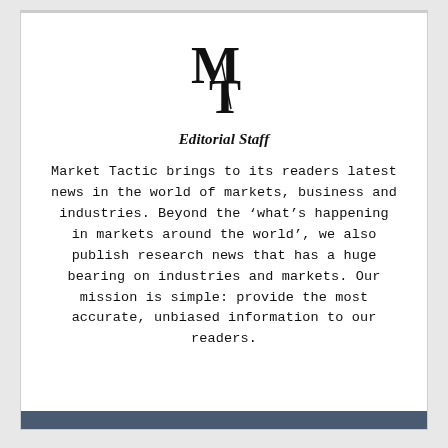[Figure (logo): MT logo — stylized overlapping M and T letters in serif font with a diagonal slash, black on white]
Editorial Staff
Market Tactic brings to its readers latest news in the world of markets, business and industries. Beyond the ‘what’s happening in markets around the world’, we also publish research news that has a huge bearing on industries and markets. Our mission is simple: provide the most accurate, unbiased information to our readers.